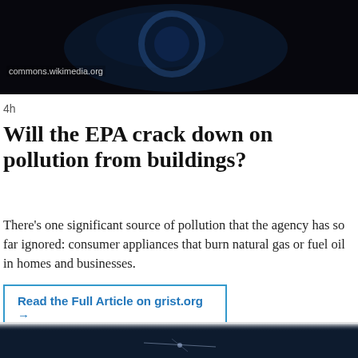[Figure (photo): Dark close-up photo of a gas burner flame, with a wikimedia commons credit visible]
commons.wikimedia.org
4h
Will the EPA crack down on pollution from buildings?
There’s one significant source of pollution that the agency has so far ignored: consumer appliances that burn natural gas or fuel oil in homes and businesses.
Read the Full Article on grist.org →
[Figure (photo): Dark image of what appears to be a satellite or spacecraft against a dark blue/space background]